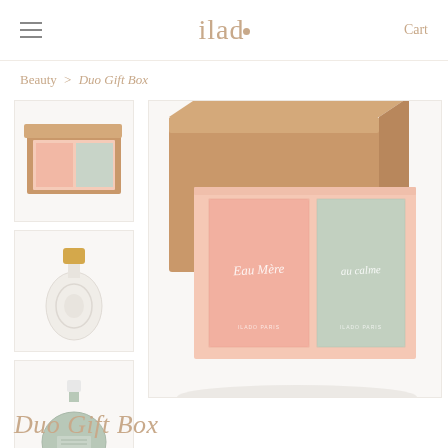ilado | Cart
Beauty > Duo Gift Box
[Figure (photo): Small thumbnail showing top-down view of open Duo Gift Box with pink and sage green panels]
[Figure (photo): Small thumbnail showing a perfume bottle with gold cap and floral relief, white glass]
[Figure (photo): Small thumbnail showing a round sage green perfume bottle with white cap]
[Figure (photo): Main large product image: open kraft cardboard box containing two fragrance boxes side by side — left box in blush pink, right box in sage/mint green, both with cursive script text]
Duo Gift Box